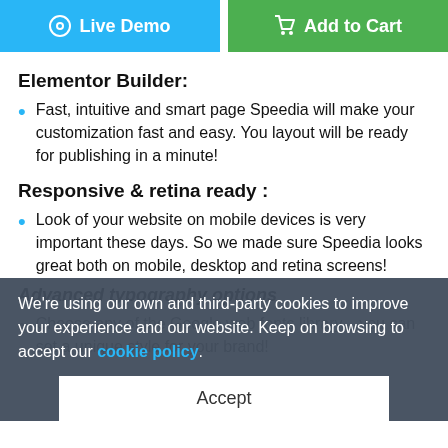[Figure (other): Two buttons: 'Live Demo' (blue, with eye icon) and 'Add to Cart' (green, with cart icon)]
Elementor Builder:
Fast, intuitive and smart page Speedia will make your customization fast and easy. You layout will be ready for publishing in a minute!
Responsive & retina ready :
Look of your website on mobile devices is very important these days. So we made sure Speedia looks great both on mobile, desktop and retina screens!
Advanced typography options
Choose any of the Google web fonts library... you can set a unique style for your brand!
We're using our own and third-party cookies to improve your experience and our website. Keep on browsing to accept our cookie policy.
Accept